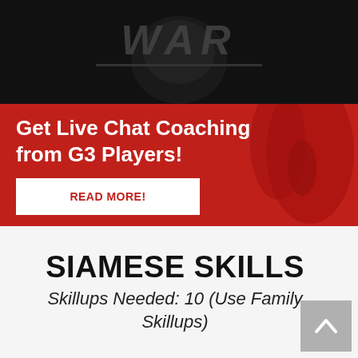[Figure (illustration): Dark banner with WAR game logo (gothic letters on dark background with skull motif)]
Get Live Chat Coaching from G3 Players!
READ MORE!
SIAMESE SKILLS
Skillups Needed: 10 (Use Family Skillups)